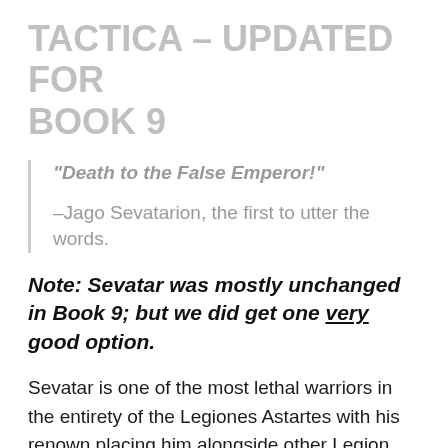TACTICA – UPDATED FOR BOOK 9
“Death to the False Emperor!”

–Jago Sevatarion, the first to utter the words.
Note: Sevatar was mostly unchanged in Book 9; but we did get one very good option.
Sevatar is one of the most lethal warriors in the entirety of the Legiones Astartes with his renown placing him alongside other Legion figureheads